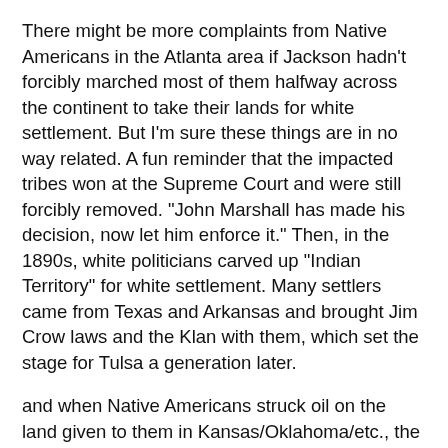There might be more complaints from Native Americans in the Atlanta area if Jackson hadn't forcibly marched most of them halfway across the continent to take their lands for white settlement. But I'm sure these things are in no way related. A fun reminder that the impacted tribes won at the Supreme Court and were still forcibly removed. "John Marshall has made his decision, now let him enforce it." Then, in the 1890s, white politicians carved up "Indian Territory" for white settlement. Many settlers came from Texas and Arkansas and brought Jim Crow laws and the Klan with them, which set the stage for Tulsa a generation later.
and when Native Americans struck oil on the land given to them in Kansas/Oklahoma/etc., the "Bureau of Indian Affairs" appointed financial managers to them to manage the wealth derived from that oil. You'll never believe what happened next!